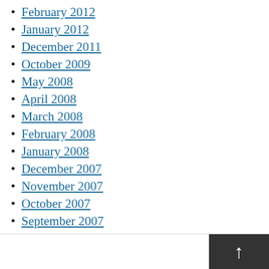February 2012
January 2012
December 2011
October 2009
May 2008
April 2008
March 2008
February 2008
January 2008
December 2007
November 2007
October 2007
September 2007
August 2007
January 2004
Back to top